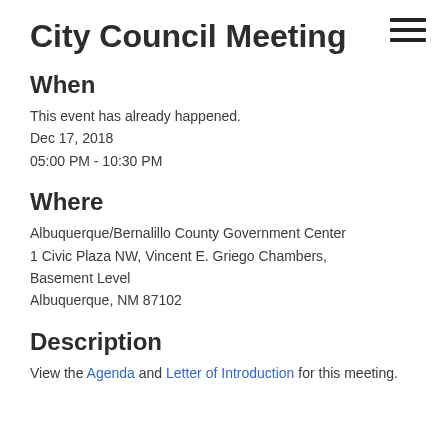City Council Meeting
When
This event has already happened.
Dec 17, 2018
05:00 PM - 10:30 PM
Where
Albuquerque/Bernalillo County Government Center
1 Civic Plaza NW, Vincent E. Griego Chambers, Basement Level
Albuquerque, NM 87102
Description
View the Agenda and Letter of Introduction for this meeting.